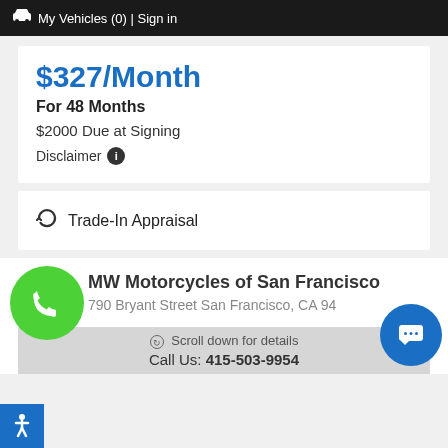🚗 My Vehicles (0) | Sign in
$327/Month
For 48 Months
$2000 Due at Signing
Disclaimer ℹ
↻ Trade-In Appraisal
BMW Motorcycles of San Francisco
790 Bryant Street San Francisco, CA 94
Scroll down for details
Call Us: 415-503-9954